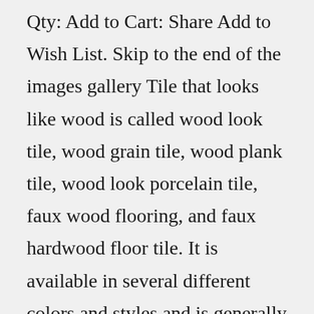Qty: Add to Cart: Share Add to Wish List. Skip to the end of the images gallery Tile that looks like wood is called wood look tile, wood grain tile, wood plank tile, wood look porcelain tile, faux wood flooring, and faux hardwood floor tile. It is available in several different colors and styles and is generally in a plank shape and size. However, more wood look tile options are becoming available, like wood look mosaics. Vintage Subway Tile Iron 3 x 12